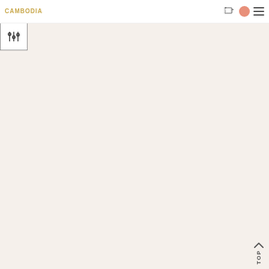CAMBODIA
[Figure (screenshot): Website header with gold CAMBODIA logo text, cart icon, salmon/pink circle avatar icon, and hamburger menu icon on white background]
[Figure (other): Sliders/filter icon in a square border on the left edge of the page]
[Figure (screenshot): Large beige/off-white content area, mostly empty product listing page]
[Figure (other): TOP back-to-top button with upward chevron arrow in bottom right corner]